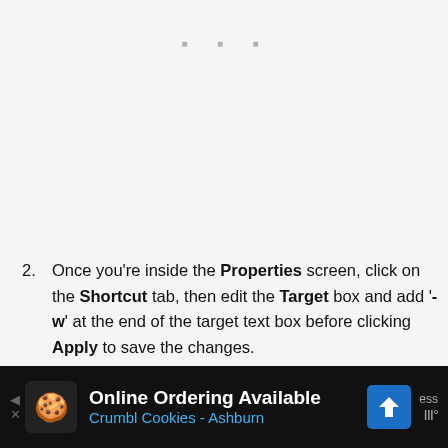[Figure (screenshot): Three small gray dots centered near top of page (navigation dots)]
2. Once you're inside the Properties screen, click on the Shortcut tab, then edit the Target box and add '-w' at the end of the target text box before clicking Apply to save the changes.
[Figure (screenshot): Acrobat Reader DC Properties dialog box header showing title bar with red Acrobat icon, text 'Acrobat Reader DC Properties', and close X button]
[Figure (screenshot): Black advertisement bar at bottom: Online Ordering Available, Crumbl Cookies - Ashburn, with cookie icon and blue navigation arrow icon]